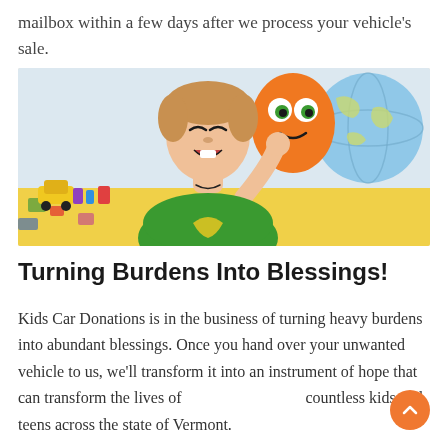mailbox within a few days after we process your vehicle's sale.
[Figure (photo): A smiling young boy wearing a green t-shirt, surrounded by colorful toys including an orange character plush and a globe, in a bright playful setting.]
Turning Burdens Into Blessings!
Kids Car Donations is in the business of turning heavy burdens into abundant blessings. Once you hand over your unwanted vehicle to us, we'll transform it into an instrument of hope that can transform the lives of countless kids and teens across the state of Vermont.